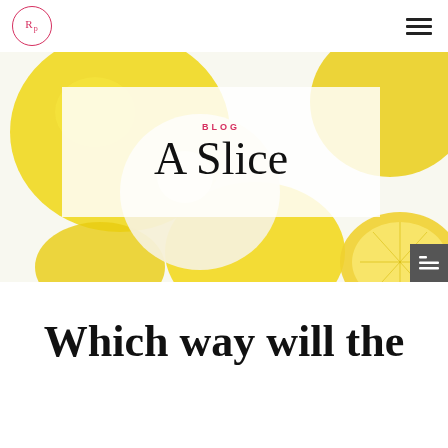Rp (logo) | hamburger menu
[Figure (photo): Overhead photo of lemons and lemon halves on a white background, with a semi-transparent white overlay box containing 'BLOG' label and 'A Slice' script text]
Which way will the